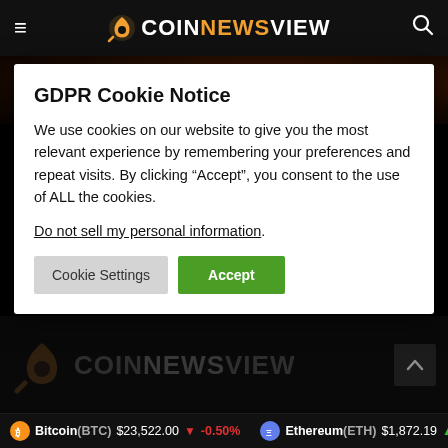COINNEWSVIEW
[Figure (screenshot): Background image area with orange/dark bitcoin themed background and PURCHASE AD SPACE button]
GDPR Cookie Notice
We use cookies on our website to give you the most relevant experience by remembering your preferences and repeat visits. By clicking “Accept”, you consent to the use of ALL the cookies.
Do not sell my personal information.
Cookie Settings | Accept
[Figure (logo): CoinNewsView logo in dark/muted colors at bottom of page]
Bitcoin(BTC) $23,522.00 ▼ -0.50% | Ethereum(ETH) $1,872.19 ▲